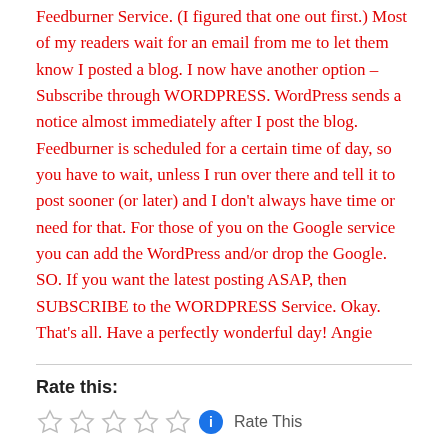Feedburner Service. (I figured that one out first.) Most of my readers wait for an email from me to let them know I posted a blog.  I now have another option – Subscribe through WORDPRESS.  WordPress sends a notice almost immediately after I post the blog.  Feedburner is scheduled for a certain time of day, so you have to wait, unless I run over there and tell it to post sooner (or later) and I don't always have time or need for that. For those of you on the Google service you can add the WordPress and/or drop the Google.  SO.  If you want the latest posting ASAP, then SUBSCRIBE to the WORDPRESS Service.  Okay.  That's all.  Have a perfectly wonderful day!  Angie
Rate this: